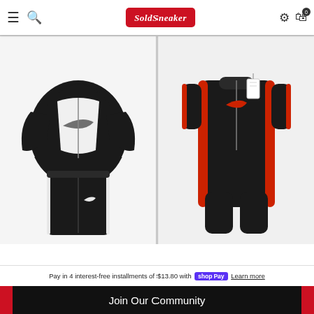SoldSneaker - navigation header with hamburger menu, search icon, logo, settings icon, and cart (0)
[Figure (photo): Nike kids black and white hoodie tracksuit set with matching black jogger pants featuring white Nike swoosh logo]
[Figure (photo): Nike baby black and red romper/coverall with zipper front and red side stripe accents with Nike logo on chest]
Pay in 4 interest-free installments of $13.80 with Shop Pay Learn more
Join Our Community